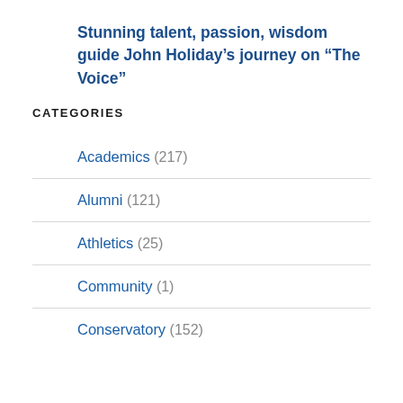Stunning talent, passion, wisdom guide John Holiday’s journey on “The Voice”
CATEGORIES
Academics (217)
Alumni (121)
Athletics (25)
Community (1)
Conservatory (152)